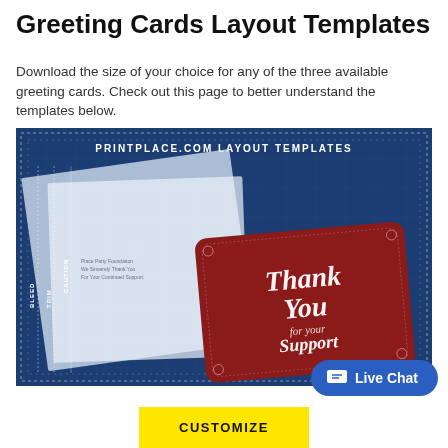Greeting Cards Layout Templates
Download the size of your choice for any of the three available greeting cards. Check out this page to better understand the templates below.
[Figure (screenshot): Blueprint-style layout template image showing a greeting card design with BLEED, TRIM, CAUTION labels on the left side, a white card overlay, and a dark red thank-you greeting card on the right. Header reads 'PRINTPLACE.COM LAYOUT TEMPLATES'.]
Live Chat
CUSTOMIZE